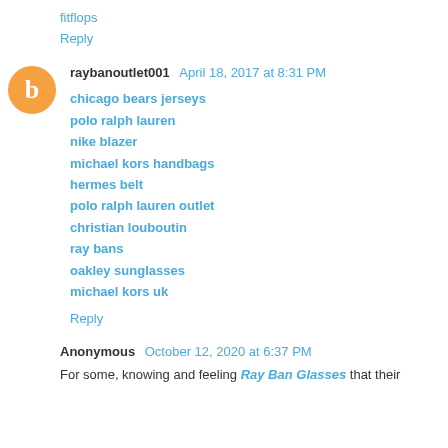fitflops
Reply
raybanoutlet001  April 18, 2017 at 8:31 PM
chicago bears jerseys
polo ralph lauren
nike blazer
michael kors handbags
hermes belt
polo ralph lauren outlet
christian louboutin
ray bans
oakley sunglasses
michael kors uk
Reply
Anonymous  October 12, 2020 at 6:37 PM
For some, knowing and feeling Ray Ban Glasses that their